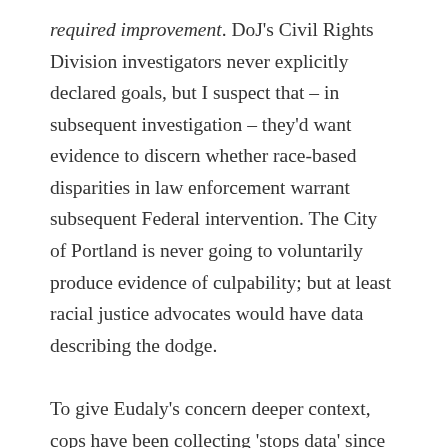required improvement. DoJ's Civil Rights Division investigators never explicitly declared goals, but I suspect that – in subsequent investigation – they'd want evidence to discern whether race-based disparities in law enforcement warrant subsequent Federal intervention. The City of Portland is never going to voluntarily produce evidence of culpability; but at least racial justice advocates would have data describing the dodge.

To give Eudaly's concern deeper context, cops have been collecting 'stops data' since the turn of the century. They began making